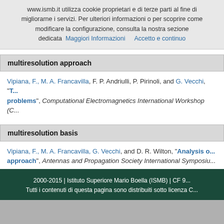www.ismb.it utilizza cookie proprietari e di terze parti al fine di migliorarne i servizi. Per ulteriori informazioni o per scoprire come modificare la configurazione, consulta la nostra sezione dedicata  Maggiori Informazioni   Accetto e continuo
multiresolution approach
Vipiana, F., M. A. Francavilla, F. P. Andriulli, P. Pirinoli, and G. Vecchi, "T... problems", Computational Electromagnetics International Workshop (C...
multiresolution basis
Vipiana, F., M. A. Francavilla, G. Vecchi, and D. R. Wilton, "Analysis o... approach", Antennas and Propagation Society International Symposiu...
« first
2000-2015 | Istituto Superiore Mario Boella (ISMB) | CF 9... Tutti i contenuti di questa pagina sono distribuiti sotto licenza C...